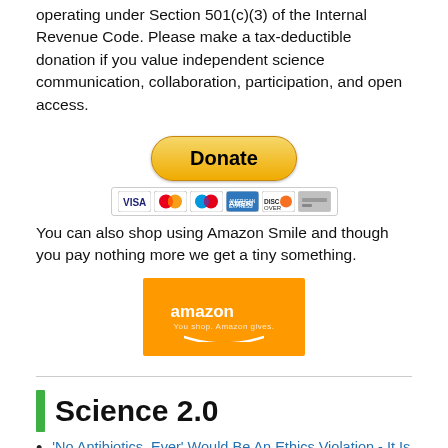operating under Section 501(c)(3) of the Internal Revenue Code. Please make a tax-deductible donation if you value independent science communication, collaboration, participation, and open access.
[Figure (other): PayPal Donate button with payment card icons (Visa, Mastercard, Mastercard, American Express, Discover, and one more)]
You can also shop using Amazon Smile and though you pay nothing more we get a tiny something.
[Figure (logo): Amazon Smile logo on orange background]
Science 2.0
'No Antibiotics, Ever' Would Be An Ethics Violation - It Is Also A Lie, According To A Whole Foods Lawsuit
An Extinction In Progress